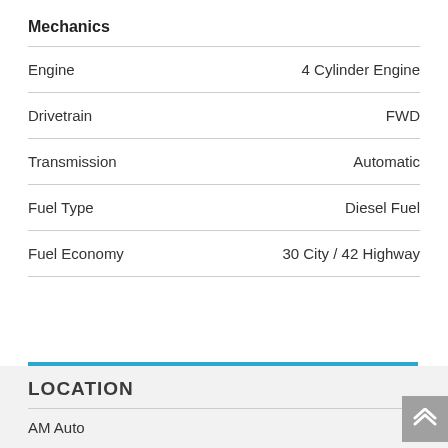Mechanics
|  |  |
| --- | --- |
| Engine | 4 Cylinder Engine |
| Drivetrain | FWD |
| Transmission | Automatic |
| Fuel Type | Diesel Fuel |
| Fuel Economy | 30 City / 42 Highway |
LOCATION
AM Auto